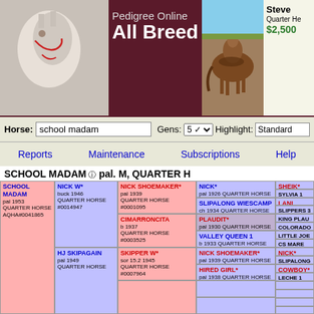Pedigree Online All Breed Database
Horse: school madam  Gens: 5  Highlight: Standard
Reports  Maintenance  Subscriptions  Help
SCHOOL MADAM pal. M, QUARTER HORSE
| Gen0 | Gen1 | Gen2 | Gen3 | Gen4 |
| --- | --- | --- | --- | --- |
| SCHOOL MADAM pal 1953 QUARTER HORSE AQHA#0041865 | NICK W* buck 1946 QUARTER HORSE #0014947 | NICK SHOEMAKER* pal 1939 QUARTER HORSE #0001095 | NICK* pal 1926 QUARTER HORSE U0077078 | SHEIK* pal 1918 |
|  |  |  |  | SYLVIA 1 b |
|  |  |  | SLIPALONG WIESCAMP ch 1934 QUARTER HORSE #0006335 | LANI CHIEF ch 1927 |
|  |  |  |  | SLIPPERS 3 sor 1930 |
|  |  | CIMARRONCITA b 1937 QUARTER HORSE #0003525 | PLAUDIT* pal 1930 QUARTER HORSE #0001657 | KING PLAUDIT br 1917 |
|  |  |  |  | COLORADO buck 1926 |
|  |  |  | VALLEY QUEEN 1 b 1933 QUARTER HORSE U0081146 | LITTLE JOE b 1916 |
|  |  |  |  | CS MARE |
|  | HJ SKIPAGAIN pal 1949 QUARTER HORSE | SKIPPER W* sor 15.2 1945 QUARTER HORSE #0007964 | NICK SHOEMAKER* pal 1939 QUARTER HORSE #0001095 | NICK* pal 1926 |
|  |  |  |  | SLIPALONG ch 1934 |
|  |  |  | HIRED GIRL* pal 1938 QUARTER HORSE #0006043 | COWBOY* sor 15.2 1922 |
|  |  |  |  | LECHE 1 perl 1932 |